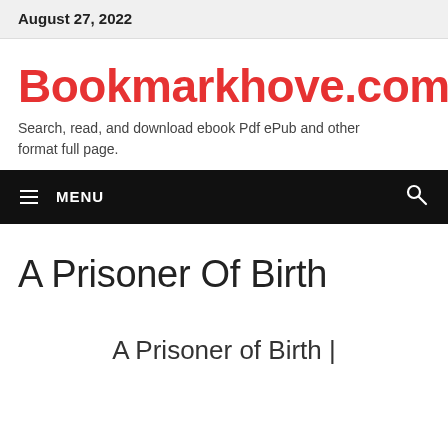August 27, 2022
Bookmarkhove.com
Search, read, and download ebook Pdf ePub and other format full page.
MENU
A Prisoner Of Birth
A Prisoner of Birth |